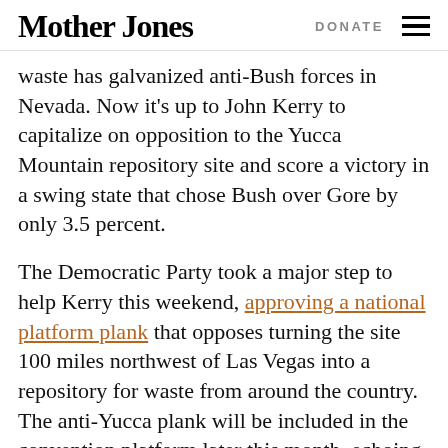Mother Jones  DONATE
waste has galvanized anti-Bush forces in Nevada. Now it's up to John Kerry to capitalize on opposition to the Yucca Mountain repository site and score a victory in a swing state that chose Bush over Gore by only 3.5 percent.
The Democratic Party took a major step to help Kerry this weekend, approving a national platform plank that opposes turning the site 100 miles northwest of Las Vegas into a repository for waste from around the country. The anti-Yucca plank will be included in the convention platform later this month, echoing Kerry's longstanding opposition to the site. As Rep. Shelley Berkley (D-Nev.) told the Associated Press: